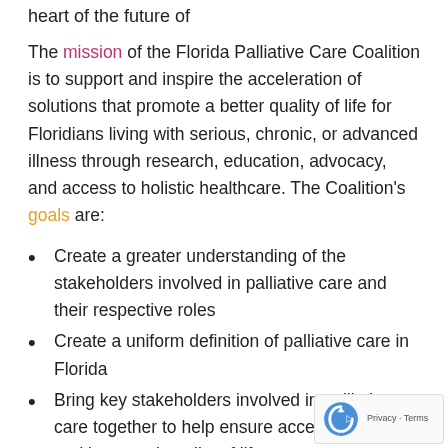heart of the future of
The mission of the Florida Palliative Care Coalition is to support and inspire the acceleration of solutions that promote a better quality of life for Floridians living with serious, chronic, or advanced illness through research, education, advocacy, and access to holistic healthcare. The Coalition's goals are:
Create a greater understanding of the stakeholders involved in palliative care and their respective roles
Create a uniform definition of palliative care in Florida
Bring key stakeholders involved in palliative care together to help ensure access to care and improved quality of life
Partner with the Florida Cancer Control and Research Advisory Council (CCRAB) and